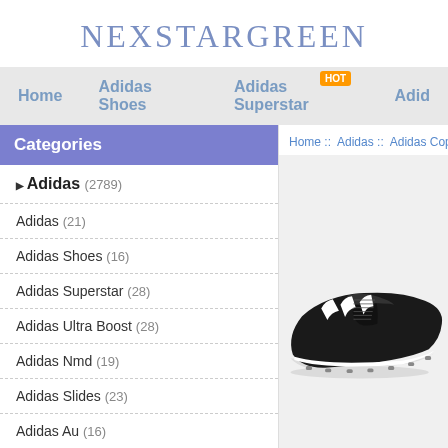NEXSTARGREEN
Home   Adidas Shoes [HOT]   Adidas Superstar   Adidas...
Categories
Home :: Adidas :: Adidas Copa Mundial ::
Adidas (2789)
Adidas (21)
Adidas Shoes (16)
Adidas Superstar (28)
Adidas Ultra Boost (28)
Adidas Nmd (19)
Adidas Slides (23)
Adidas Au (16)
Adidas Australia (27)
[Figure (photo): Black Adidas Copa Mundial soccer cleat shoe with white stripes on light gray background]